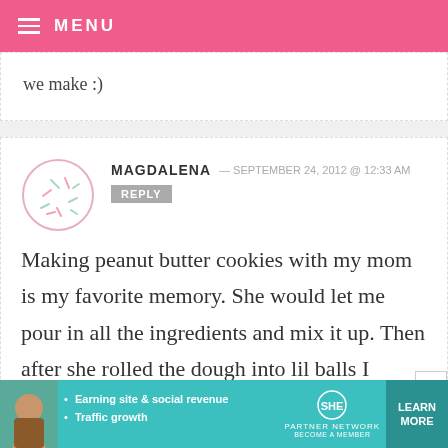MENU
we make :)
MAGDALENA — SEPTEMBER 24, 2012 @ 12:33 AM
Making peanut butter cookies with my mom is my favorite memory. She would let me pour in all the ingredients and mix it up. Then after she rolled the dough into lil balls I would flatten them with a fork and
[Figure (infographic): Advertisement banner for SHE Partner Network showing a person, bullet points about Earning site & social revenue and Traffic growth, SHE logo with partner network text, and a LEARN MORE button]